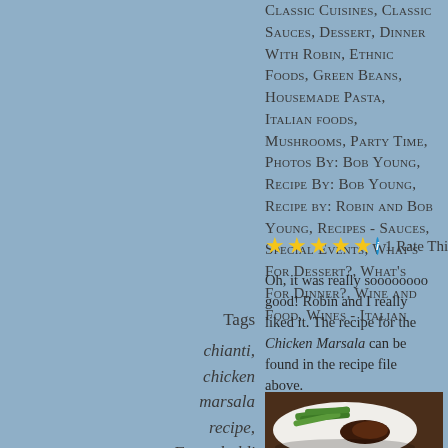Classic Cuisines, Classic Sauces, Dessert, Dinner With Robin, Ethnic Foods, Green Beans, Housemade Pasta, Italian foods, Mushrooms, Party Time, Photos By: Bob Young, Recipe By: Bob Young, Recipe by: Robin and Bob Young, Recipes - Sauces, Special Events, What's For Dessert?, What's For Dinner?, Wine and Food, Wines - Italian
★★★★★ ⓘ 1 Rate This Article
Oh, it was really soooooooo good! Robin and I really liked it. The recipe for the Chicken Marsala can be found in the recipe file above.
Tags
chianti, chicken marsala recipe, Frescobaldi
[Figure (photo): Photo of a plate with green beans and dark braised chicken marsala on a wooden surface]